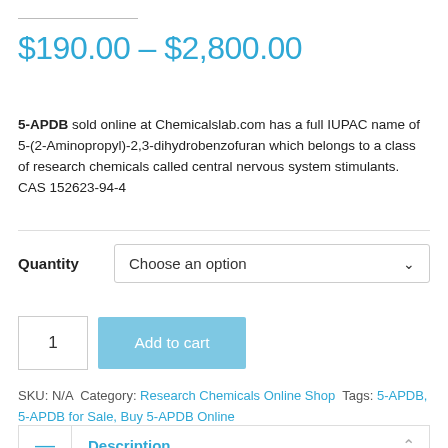$190.00 – $2,800.00
5-APDB sold online at Chemicalslab.com has a full IUPAC name of 5-(2-Aminopropyl)-2,3-dihydrobenzofuran which belongs to a class of research chemicals called central nervous system stimulants. CAS 152623-94-4
Quantity  Choose an option
1  Add to cart
SKU: N/A  Category: Research Chemicals Online Shop  Tags: 5-APDB, 5-APDB for Sale, Buy 5-APDB Online
— Description
What is 5-APDB ?